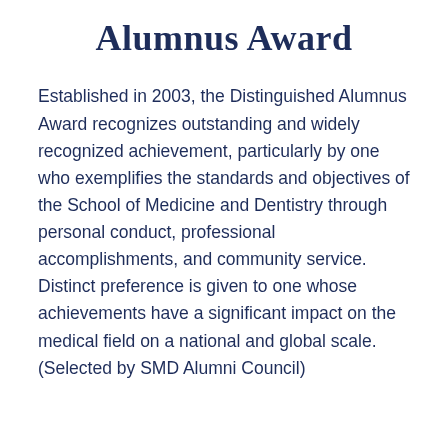Alumnus Award
Established in 2003, the Distinguished Alumnus Award recognizes outstanding and widely recognized achievement, particularly by one who exemplifies the standards and objectives of the School of Medicine and Dentistry through personal conduct, professional accomplishments, and community service. Distinct preference is given to one whose achievements have a significant impact on the medical field on a national and global scale. (Selected by SMD Alumni Council)